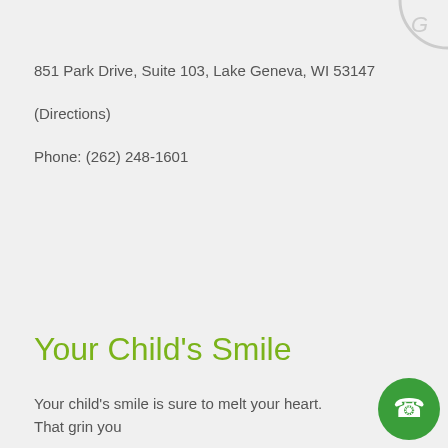851 Park Drive, Suite 103, Lake Geneva, WI 53147
(Directions)
Phone: (262) 248-1601
Your Child's Smile
Your child's smile is sure to melt your heart. That grin you